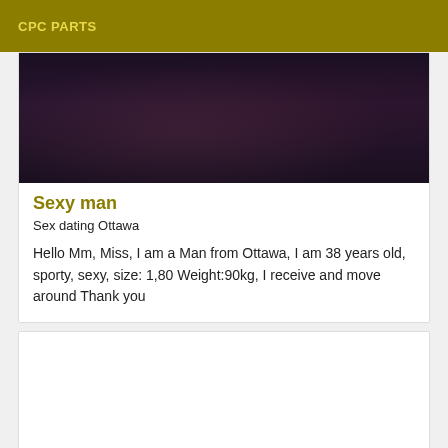CPC PARTS
[Figure (photo): Dark photo showing a torso/body, very low light, dark purple-black tones]
Sexy man
Sex dating Ottawa
Hello Mm, Miss, I am a Man from Ottawa, I am 38 years old, sporty, sexy, size: 1,80 Weight:90kg, I receive and move around Thank you